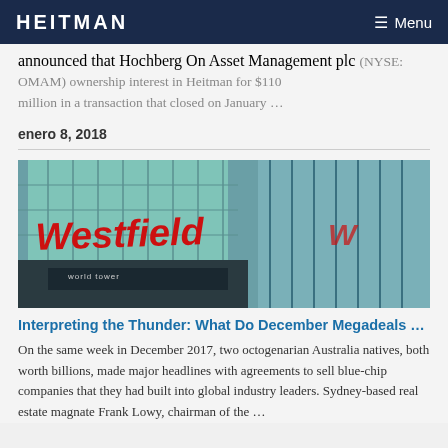HEITMAN  Menu
announced that Hochberg On Asset Management plc (NYSE: OMAM) ownership interest in Heitman for $110 million in a transaction that closed on January ...
enero 8, 2018
[Figure (photo): Westfield shopping centre exterior with large red Westfield logo on glass building facade]
Interpreting the Thunder: What Do December Megadeals ...
On the same week in December 2017, two octogenarian Australia natives, both worth billions, made major headlines with agreements to sell blue-chip companies that they had built into global industry leaders. Sydney-based real estate magnate Frank Lowy, chairman of the ...